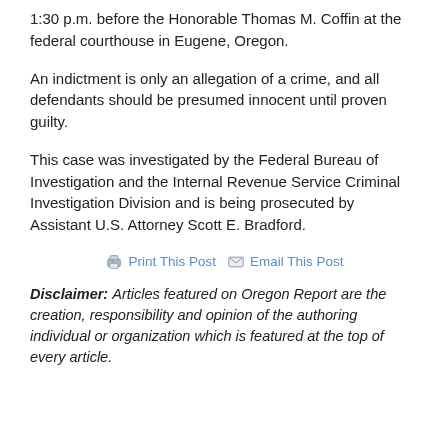1:30 p.m. before the Honorable Thomas M. Coffin at the federal courthouse in Eugene, Oregon.
An indictment is only an allegation of a crime, and all defendants should be presumed innocent until proven guilty.
This case was investigated by the Federal Bureau of Investigation and the Internal Revenue Service Criminal Investigation Division and is being prosecuted by Assistant U.S. Attorney Scott E. Bradford.
Print This Post  Email This Post
Disclaimer: Articles featured on Oregon Report are the creation, responsibility and opinion of the authoring individual or organization which is featured at the top of every article.